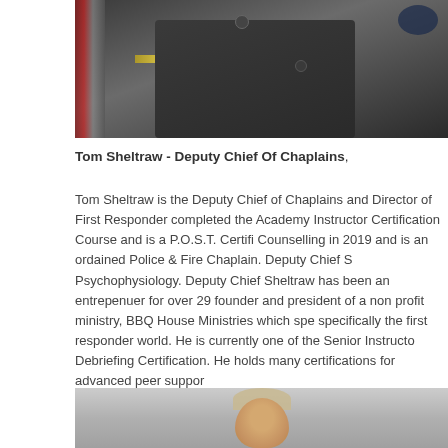[Figure (photo): Photo of Tom Sheltraw in dark uniform with American flag in background, cropped to torso]
Tom Sheltraw - Deputy Chief Of Chaplains,
Tom Sheltraw is the Deputy Chief of Chaplains and Director of First Responder completed the Academy Instructor Certification Course and is a P.O.S.T. Certifi Counselling in 2019 and is an ordained Police & Fire Chaplain. Deputy Chief S Psychophysiology. Deputy Chief Sheltraw has been an entrepenuer for over 29 founder and president of a non profit ministry, BBQ House Ministries which spe specifically the first responder world. He is currently one of the Senior Instructo Debriefing Certification. He holds many certifications for advanced peer suppor
[Figure (photo): Photo of a person with light-colored hair against a light background, cropped near top of frame]